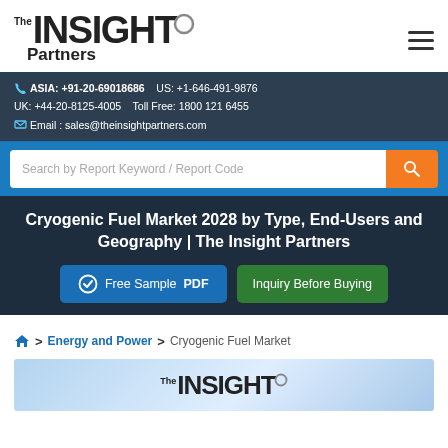The Insight Partners
ASIA: +91-20-69018686   US: +1-646-491-9876
UK: +44-20-8125-4005   Toll Free: 1800 121 6455
Email : sales@theinsightpartners.com
Search by Report Keyword / Report Code
Cryogenic Fuel Market 2028 by Type, End-Users and Geography | The Insight Partners
Free Sample PDF
Inquiry Before Buying
Home > Energy and Power > Cryogenic Fuel Market